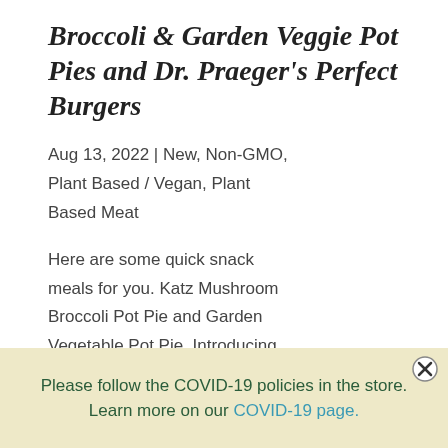Broccoli & Garden Veggie Pot Pies and Dr. Praeger's Perfect Burgers
Aug 13, 2022 | New, Non-GMO, Plant Based / Vegan, Plant Based Meat
Here are some quick snack meals for you. Katz Mushroom Broccoli Pot Pie and Garden Vegetable Pot Pie. Introducing
Please follow the COVID-19 policies in the store. Learn more on our COVID-19 page.